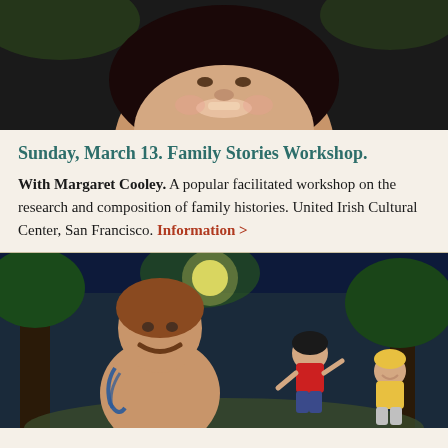[Figure (photo): Portrait photo of Margaret Cooley, a woman with dark hair, smiling, against a dark background]
Sunday, March 13. Family Stories Workshop.
With Margaret Cooley. A popular facilitated workshop on the research and composition of family histories. United Irish Cultural Center, San Francisco. Information >
[Figure (illustration): Comic-style illustration showing a man with a mustache and tattoos in the foreground, with two children running in a park/forest setting at night]